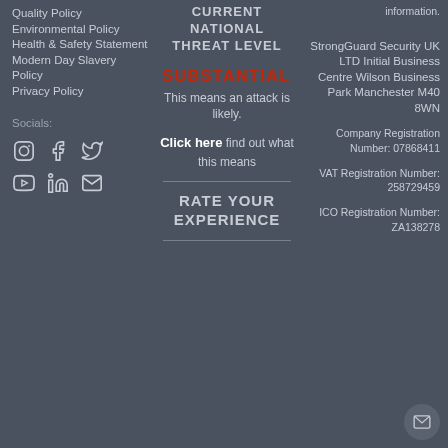Quality Policy
Environmental Policy
Health & Safety Statement
Modern Day Slavery Policy
Privacy Policy
Socials:
[Figure (other): Social media icons: Instagram, Facebook, Twitter, YouTube, LinkedIn, Email]
CURRENT NATIONAL THREAT LEVEL
SUBSTANTIAL
This means an attack is likely.
Click here find out what this means
RATE YOUR EXPERIENCE
information.
StrongGuard Security UK LTD Initial Business Centre Wilson Business Park Manchester M40 8WN
Company Registration Number: 07868411
VAT Registration Number: 258729459
ICO Registration Number: ZA138278